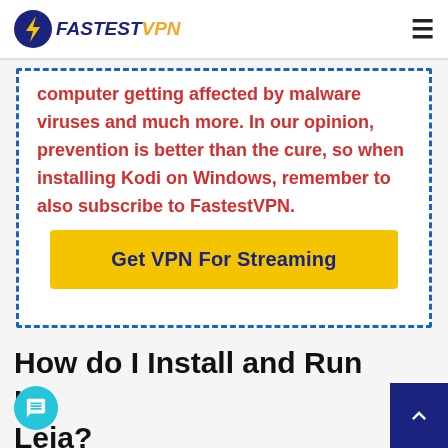FastestVPN
computer getting affected by malware viruses and much more. In our opinion, prevention is better than the cure, so when installing Kodi on Windows, remember to also subscribe to FastestVPN.
Get VPN For Streaming
How do I Install and Run Kodi Leia?